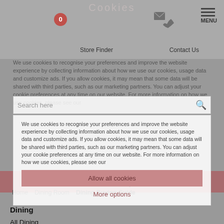Cookies
0
Store Finder
Contact Us
MENU
Search here
Free Local Delivery Available
We use cookies to recognise your preferences and improve the website experience by collecting information about how we use our cookies, usage data and customize ads. If you allow cookies, it may mean that some data will be shared with third parties, such as our marketing partners. You can adjust your cookie preferences at any time on our website. For more information on how we use cookies, please see our
Allow all cookies
More options
Home  Dining Room  Dining Buying Guide
Dining
All Dining
Dining Sets
Dining Tables
Dining Chairs
Sideboards
Bar stools
Cabinets
Mirrors
Bookcases